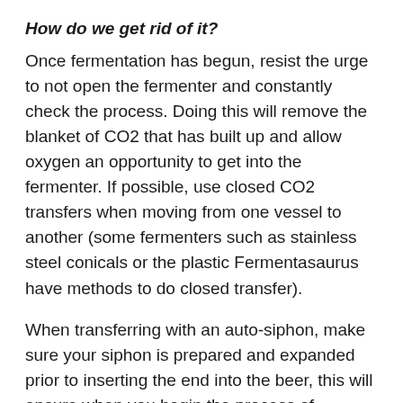How do we get rid of it?
Once fermentation has begun, resist the urge to not open the fermenter and constantly check the process. Doing this will remove the blanket of CO2 that has built up and allow oxygen an opportunity to get into the fermenter. If possible, use closed CO2 transfers when moving from one vessel to another (some fermenters such as stainless steel conicals or the plastic Fermentasaurus have methods to do closed transfer).
When transferring with an auto-siphon, make sure your siphon is prepared and expanded prior to inserting the end into the beer, this will ensure when you begin the process of siphoning, you are not forcing air into the liquid. Also, when transferring, take care to avoid splashing on the bottom of your bottling bucket or keg. When bottling, use oxygen resistant caps and be sure to fill your bottles to the